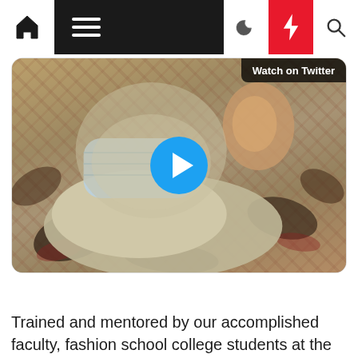[Figure (screenshot): Website navigation bar with home icon, hamburger menu on black background, moon icon, red lightning bolt icon, and search icon]
[Figure (photo): A cat wearing a blue surgical mask lying on a patterned carpet, with a blue play button circle overlay and a 'Watch on Twitter' label. Timestamp shows 5:42 AM · May 6, 2021 with an info icon.]
Trained and mentored by our accomplished faculty, fashion school college students at the Academy are encouraged from day one to convey their inventive visions to life each in the classroom and on the runway. Prices as marked on full worth gadgets – no further low cost is applied at checkout. Not legitimate along side any other supply, voucher, promotion or discount. Offer solely redeemable on